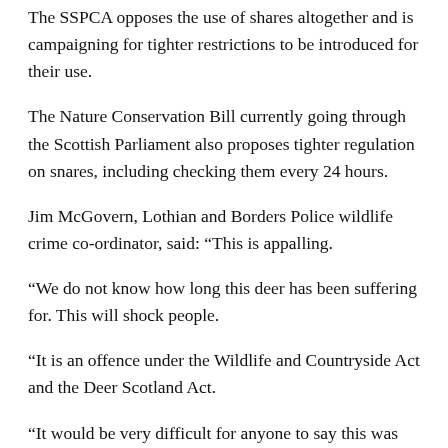The SSPCA opposes the use of shares altogether and is campaigning for tighter restrictions to be introduced for their use.
The Nature Conservation Bill currently going through the Scottish Parliament also proposes tighter regulation on snares, including checking them every 24 hours.
Jim McGovern, Lothian and Borders Police wildlife crime co-ordinator, said: “This is appalling.
“We do not know how long this deer has been suffering for. This will shock people.
“It is an offence under the Wildlife and Countryside Act and the Deer Scotland Act.
“It would be very difficult for anyone to say this was set